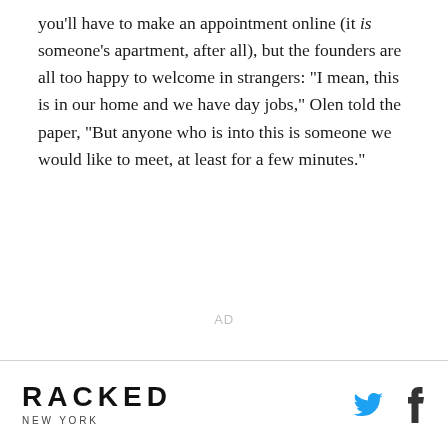you'll have to make an appointment online (it is someone's apartment, after all), but the founders are all too happy to welcome in strangers: "I mean, this is in our home and we have day jobs," Olen told the paper, "But anyone who is into this is someone we would like to meet, at least for a few minutes."
AD
RACKED NEW YORK